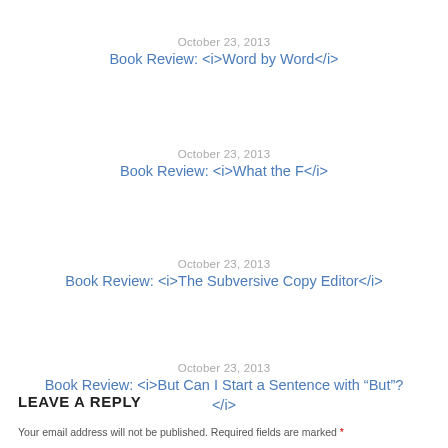October 23, 2013
Book Review: <i>Word by Word</i>
October 23, 2013
Book Review: <i>What the F</i>
October 23, 2013
Book Review: <i>The Subversive Copy Editor</i>
October 23, 2013
Book Review: <i>But Can I Start a Sentence with “But”?</i>
LEAVE A REPLY
Your email address will not be published. Required fields are marked *